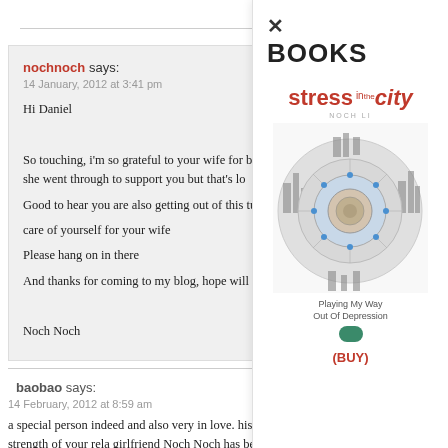nochnoch says:
14 January, 2012 at 3:41 pm

Hi Daniel

So touching, i'm so grateful to your wife for being there. I can imagine the pain she went through to support you but that's lo...
Good to hear you are also getting out of this tunn... care of yourself for your wife
Please hang on in there
And thanks for coming to my blog, hope will see...

Noch Noch
baobao says:
14 February, 2012 at 8:59 am

a special person indeed and also very in love. his loy... rewarded. It also testifies to the strength of your rela... girlfriend Noch Noch has been before her depression...
[Figure (illustration): Book cover for 'Stress in the City' by Noch Li - Playing My Way Out Of Depression, with a circular mandala-like city diagram image. Panel also shows a close X button and BOOKS heading with a (BUY) link.]